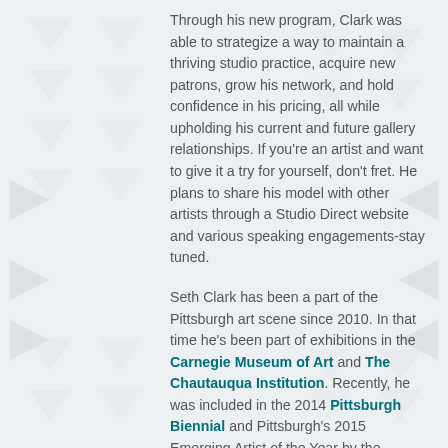Through his new program, Clark was able to strategize a way to maintain a thriving studio practice, acquire new patrons, grow his network, and hold confidence in his pricing, all while upholding his current and future gallery relationships. If you're an artist and want to give it a try for yourself, don't fret. He plans to share his model with other artists through a Studio Direct website and various speaking engagements-stay tuned.
Seth Clark has been a part of the Pittsburgh art scene since 2010. In that time he's been part of exhibitions in the Carnegie Museum of Art and The Chautauqua Institution. Recently, he was included in the 2014 Pittsburgh Biennial and Pittsburgh's 2015 Emerging Artist of the Year by the Pittsburgh Center for the Arts.
The opening reception for this exhibit will